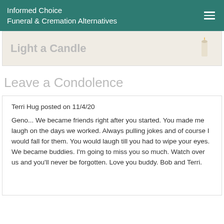Informed Choice Funeral & Cremation Alternatives
Light a Candle
Leave a Condolence
Terri Hug posted on 11/4/20

Geno... We became friends right after you started. You made me laugh on the days we worked. Always pulling jokes and of course I would fall for them. You would laugh till you had to wipe your eyes. We became buddies. I'm going to miss you so much. Watch over us and you'll never be forgotten. Love you buddy. Bob and Terri.